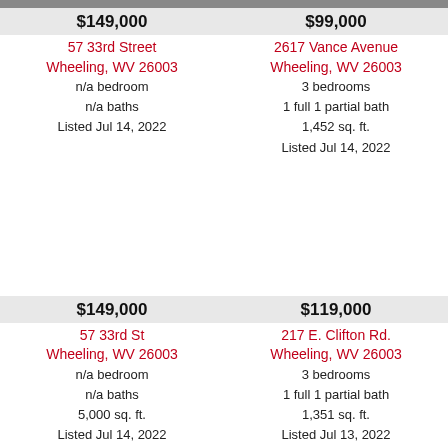$149,000
57 33rd Street
Wheeling, WV 26003
n/a bedroom
n/a baths
Listed Jul 14, 2022
$99,000
2617 Vance Avenue
Wheeling, WV 26003
3 bedrooms
1 full 1 partial bath
1,452 sq. ft.
Listed Jul 14, 2022
$149,000
57 33rd St
Wheeling, WV 26003
n/a bedroom
n/a baths
5,000 sq. ft.
Listed Jul 14, 2022
$119,000
217 E. Clifton Rd.
Wheeling, WV 26003
3 bedrooms
1 full 1 partial bath
1,351 sq. ft.
Listed Jul 13, 2022